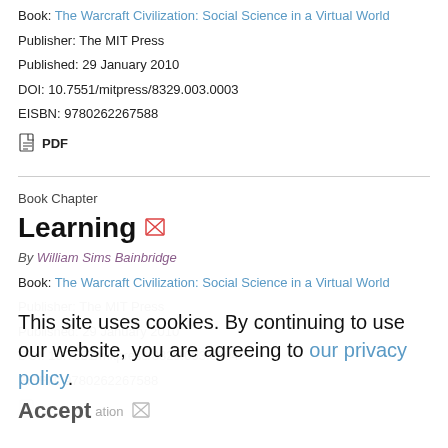Book: The Warcraft Civilization: Social Science in a Virtual World
Publisher: The MIT Press
Published: 29 January 2010
DOI: 10.7551/mitpress/8329.003.0003
EISBN: 9780262267588
PDF
Book Chapter
Learning
By William Sims Bainbridge
Book: The Warcraft Civilization: Social Science in a Virtual World
Publisher: The MIT Press
Published: 29 January 2010
DOI: 10.7551/mitpress/8329.003.0004
EISBN: 9780262267588
PDF
This site uses cookies. By continuing to use our website, you are agreeing to our privacy policy.
Accept